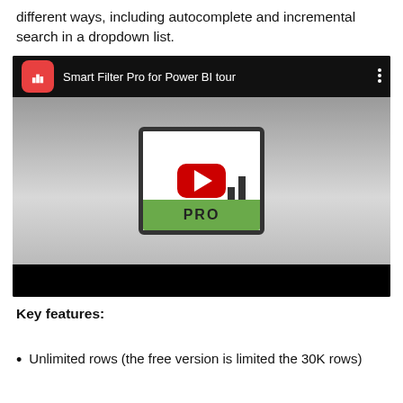different ways, including autocomplete and incremental search in a dropdown list.
[Figure (screenshot): YouTube video thumbnail for 'Smart Filter Pro for Power BI tour' showing the Smart Filter Pro logo with a green PRO pill and a YouTube play button overlay.]
Key features:
Unlimited rows (the free version is limited the 30K rows)